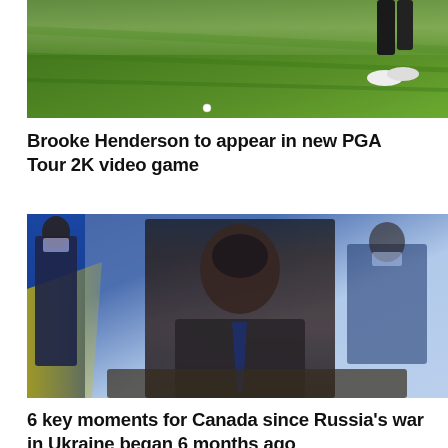[Figure (photo): Golf image showing green fairway with a golfer's legs visible at top right and a golf ball on the ground]
Brooke Henderson to appear in new PGA Tour 2K video game
[Figure (photo): Composite image showing a man in a suit sitting at a desk, overlaid with a blue-tinted image of people in masks, with Ukrainian flag colors visible]
6 key moments for Canada since Russia's war in Ukraine began 6 months ago